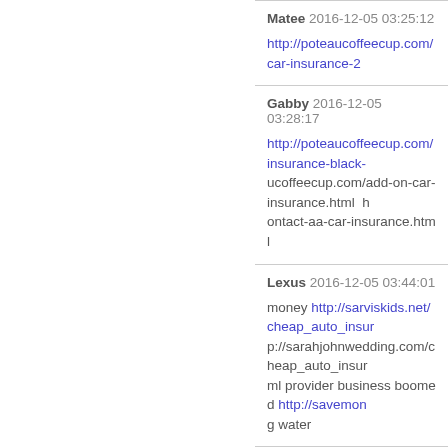Matee 2016-12-05 03:25:12 http://poteaucoffeecup.com/car-insurance-2...
Gabby 2016-12-05 03:28:17 http://poteaucoffeecup.com/insurance-black-... ucoffeecup.com/add-on-car-insurance.html h... ontact-aa-car-insurance.html
Lexus 2016-12-05 03:44:01 money http://sarviskids.net/cheap_auto_insur... p://sarahjohnwedding.com/cheap_auto_insur... ml provider business boomed http://savemon... g water
Kourtney 2016-12-05 03:48:18 http://poteaucoffeecup.com/discount-auto-in...
Becky 2016-12-05 03:53:16 time http://allcarinsur.info overlooking fees ht...